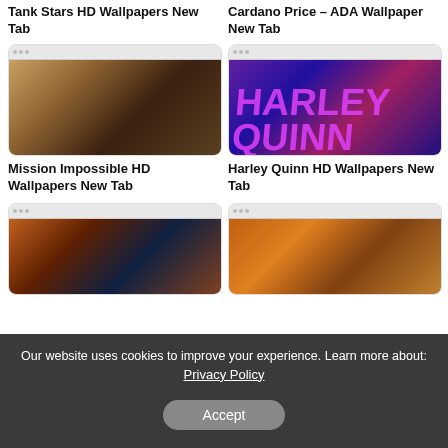Tank Stars HD Wallpapers New Tab
Cardano Price – ADA Wallpaper New Tab
[Figure (screenshot): Browser screenshot showing Mission Impossible HD Wallpapers New Tab extension]
Mission Impossible HD Wallpapers New Tab
[Figure (screenshot): Browser screenshot showing Harley Quinn HD Wallpapers New Tab extension with Harley Quinn image]
Harley Quinn HD Wallpapers New Tab
[Figure (screenshot): Browser screenshot showing fantasy game character wallpaper New Tab extension]
[Figure (screenshot): Browser screenshot showing autumn deer wallpaper New Tab extension]
Our website uses cookies to improve your experience. Learn more about: Privacy Policy
Accept